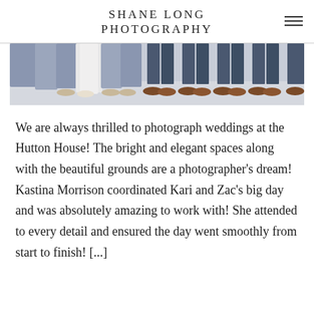SHANE LONG PHOTOGRAPHY
[Figure (photo): Cropped photo showing the lower halves of a wedding party standing in a row — bridesmaids in blue/grey dresses and the bridal gown on the left, groomsmen in jeans and dress shoes on the right, on a light grey floor.]
We are always thrilled to photograph weddings at the Hutton House!  The bright and elegant spaces along with the beautiful grounds are a photographer's dream!  Kastina Morrison coordinated Kari and Zac's big day and was absolutely amazing to work with!  She attended to every detail and ensured the day went smoothly from start to finish! [...]